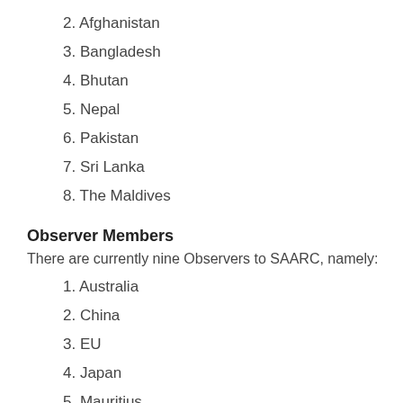2. Afghanistan
3. Bangladesh
4. Bhutan
5. Nepal
6. Pakistan
7. Sri Lanka
8. The Maldives
Observer Members
There are currently nine Observers to SAARC, namely:
1. Australia
2. China
3. EU
4. Japan
5. Mauritius